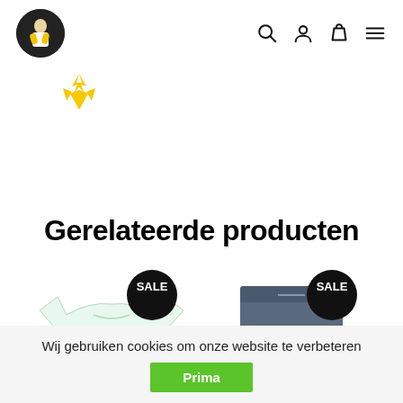[Figure (logo): Circular logo with dark background showing a stylized person figure in white/yellow]
[Figure (logo): Yellow eagle/bird brand logo icon (Lyle & Scott style)]
Gerelateerde producten
[Figure (photo): Green and white striped cropped t-shirt with SALE badge]
[Figure (photo): Navy blue shorts with SALE badge]
Wij gebruiken cookies om onze website te verbeteren
Prima